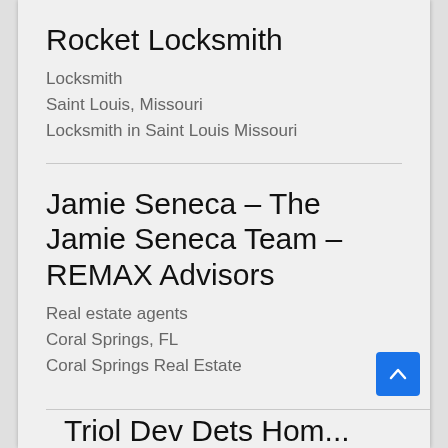Rocket Locksmith
Locksmith
Saint Louis, Missouri
Locksmith in Saint Louis Missouri
Jamie Seneca – The Jamie Seneca Team – REMAX Advisors
Real estate agents
Coral Springs, FL
Coral Springs Real Estate